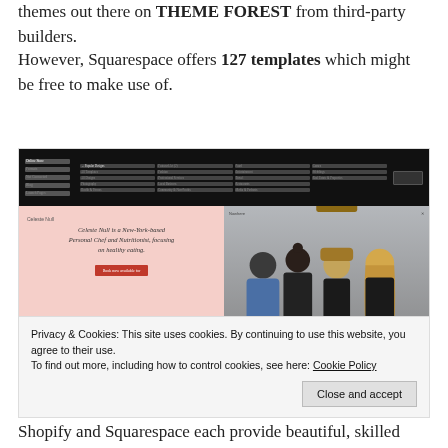themes out there on THEME FOREST from third-party builders.
However, Squarespace offers 127 templates which might be free to make use of.
[Figure (screenshot): Screenshot of the Squarespace template selection interface showing a dark navigation bar at top, and two template previews below — a pink/salmon-colored food/chef website template on the left and a group photo fashion template on the right.]
Privacy & Cookies: This site uses cookies. By continuing to use this website, you agree to their use.
To find out more, including how to control cookies, see here: Cookie Policy
Shopify and Squarespace each provide beautiful, skilled